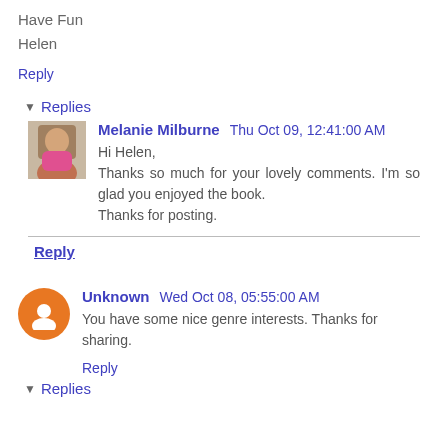Have Fun
Helen
Reply
▾ Replies
Melanie Milburne  Thu Oct 09, 12:41:00 AM
Hi Helen,
Thanks so much for your lovely comments. I'm so glad you enjoyed the book.
Thanks for posting.
Reply
Unknown  Wed Oct 08, 05:55:00 AM
You have some nice genre interests. Thanks for sharing.
Reply
▾ Replies